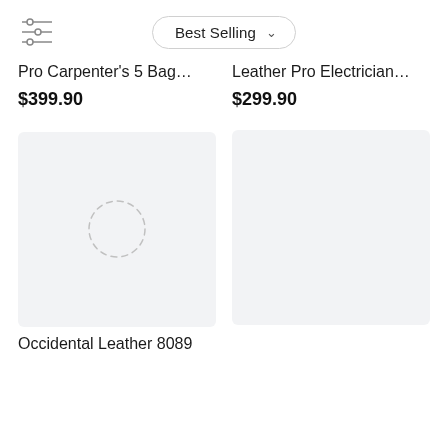[Figure (screenshot): Filter/sort icon and Best Selling dropdown button in top bar]
Pro Carpenter's 5 Bag…
$399.90
Leather Pro Electrician…
$299.90
[Figure (photo): Product image placeholder with light gray background and dashed circle loading indicator]
Occidental Leather 8089